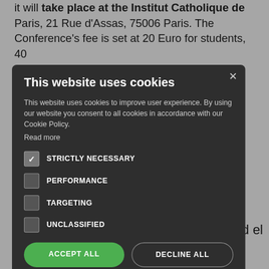it will take place at the Institut Catholique de Paris, 21 Rue d’Assas, 75006 Paris. The Conference’s fee is set at 20 Euro for students, 40 ... e basic cost ... Upon ... the centre of ... 31. ... be addressed ... nstitute.ch
[Figure (screenshot): Cookie consent modal dialog on a dark overlay. Title: 'This website uses cookies'. Body text: 'This website uses cookies to improve user experience. By using our website you consent to all cookies in accordance with our Cookie Policy. Read more'. Checkboxes: STRICTLY NECESSARY (checked), PERFORMANCE (unchecked), TARGETING (unchecked), UNCLASSIFIED (unchecked). Buttons: ACCEPT ALL (green), DECLINE ALL (outlined). SHOW DETAILS link with gear icon.]
Navegacion de entradas